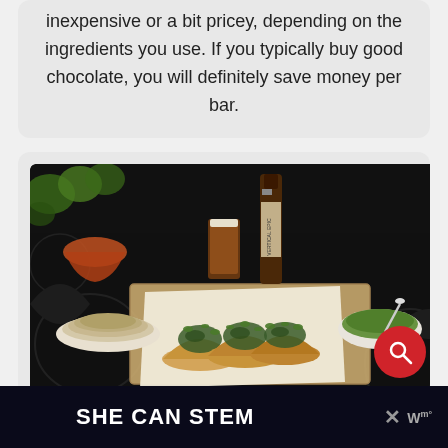inexpensive or a bit pricey, depending on the ingredients you use. If you typically buy good chocolate, you will definitely save money per bar.
[Figure (photo): Food photo showing three tacos topped with chimichurri on a wooden cutting board, with tortillas on a plate, a glass of dark beer, a bottle labelled 'Vertical Epic', a small bowl of green herb sauce with a spoon, and a dark patterned tablecloth background.]
SHE CAN STEM